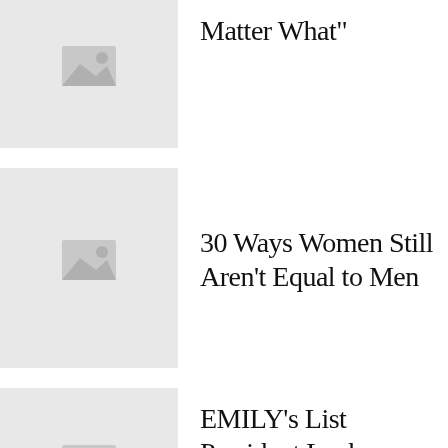[Figure (illustration): Placeholder image thumbnail, partially visible at top of page]
Matter What"
[Figure (illustration): Placeholder image thumbnail with mountain/landscape icon]
30 Ways Women Still Aren't Equal to Men
[Figure (illustration): Placeholder image thumbnail with mountain/landscape icon]
EMILY's List President Laphonza Butler Has Big Plans for the Organization